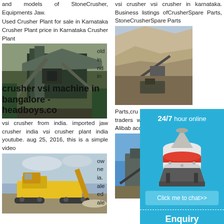and models of StoneCrusher, Equipments Jaw.
Used Crusher Plant for sale in Karnataka Crusher Plant price in Karnataka Crusher Plant
[Figure (photo): Industrial stone crusher plant building with conveyor belts and steel structure]
old in nd in
vsi crusher vsi crusher in karnataka. Business listings ofCrusherSpare Parts, StoneCrusherSpare Parts
[Figure (photo): Open-pit quarry or mining operation with rocky cliff face and equipment]
nd in ith ss. ts,
crusher vsi machine in bangalore - headboys.co
vsi crusher from india. imported jaw crusher india vsi crusher plant india youtube. aug 25, 2016, this is a simple video
Parts,cru used vsi manufactu crusher s traders wit 69 used v are offered on Alibab accounts f
[Figure (photo): Yellow mobile jaw crusher machine on gravel ground with conveyor arm]
ow ne ia. ale ed ale
[Figure (photo): Stone crusher plant with blue sky background and conveyor structure]
[Figure (infographic): 24/7 hour online chat widget with cone crusher machine image, Click me to chat button, Enquiry section, and limingjlmofen username]